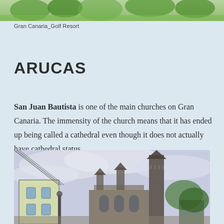[Figure (photo): Partial view of a green golf course landscape with trees, visible at the very top of the page]
Gran Canaria_Golf Resort
ARUCAS
San Juan Bautista is one of the main churches on Gran Canaria. The immensity of the church means that it has ended up being called a cathedral even though it does not actually have cathedral status.
[Figure (photo): Photograph of the San Juan Bautista church in Arucas, Gran Canaria, showing its Gothic-style spires against a cloudy sky, with green and white buildings in the foreground]